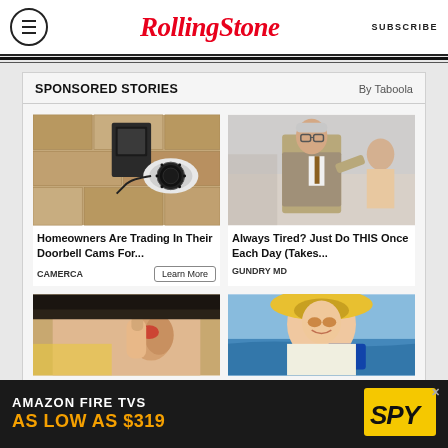Rolling Stone | SUBSCRIBE
SPONSORED STORIES | By Taboola
[Figure (photo): Security camera mounted on stone wall exterior]
Homeowners Are Trading In Their Doorbell Cams For...
CAMERCA | Learn More
[Figure (photo): Doctor in suit pointing at something, with patient in background]
Always Tired? Just Do THIS Once Each Day (Takes...
GUNDRY MD
[Figure (photo): Person having hearing aid placed in ear]
[Figure (photo): Smiling woman in yellow hat at beach holding credit card]
[Figure (infographic): Amazon Fire TVs advertisement banner: AS LOW AS $319 with SPY logo]